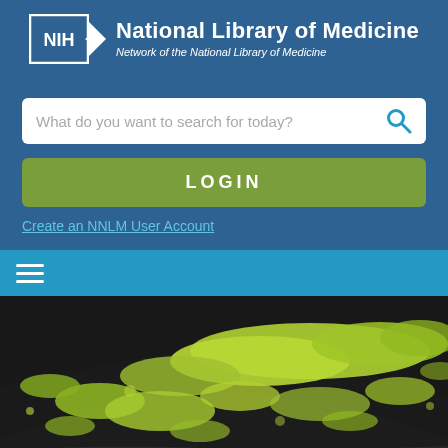[Figure (logo): NIH National Library of Medicine logo with NIH badge and arrow, with subtitle 'Network of the National Library of Medicine']
What do you want to search for today?
LOGIN
Create an NNLM User Account
[Figure (other): Hamburger menu icon (three horizontal lines) on teal navigation bar]
[Figure (photo): Aerial photo of dark rocky/muddy terrain with bright yellow-green algae or moss growth patterns]